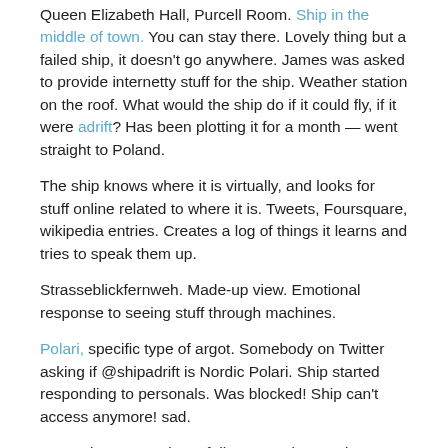Queen Elizabeth Hall, Purcell Room. Ship in the middle of town. You can stay there. Lovely thing but a failed ship, it doesn't go anywhere. James was asked to provide internetty stuff for the ship. Weather station on the roof. What would the ship do if it could fly, if it were adrift? Has been plotting it for a month — went straight to Poland.
The ship knows where it is virtually, and looks for stuff online related to where it is. Tweets, Foursquare, wikipedia entries. Creates a log of things it learns and tries to speak them up.
Strasseblickfernweh. Made-up view. Emotional response to seeing stuff through machines.
Polari, specific type of argot. Somebody on Twitter asking if @shipadrift is Nordic Polari. Ship started responding to personals. Was blocked! Ship can't access anymore! sad.
James loves spambots, follows mostly spambots on Twitter. Likes the way they speak. If we keep killing spambots they're never going to achieve sentience! It's a shame, we live with these things.
steph-note: am going to look at spambots differently from now on
There are stories already in the world. Co-created. Need to be put in words. We need to be sympathetic to these things that share our world,